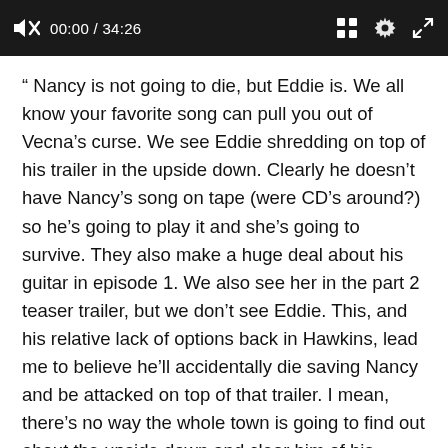00:00 / 34:26
“ Nancy is not going to die, but Eddie is. We all know your favorite song can pull you out of Vecna’s curse. We see Eddie shredding on top of his trailer in the upside down. Clearly he doesn’t have Nancy’s song on tape (were CD’s around?) so he’s going to play it and she’s going to survive. They also make a huge deal about his guitar in episode 1. We also see her in the part 2 teaser trailer, but we don’t see Eddie. This, and his relative lack of options back in Hawkins, lead me to believe he’ll accidentally die saving Nancy and be attacked on top of that trailer. I mean, there’s no way the whole town is going to find out about the upside down and clear him of his “crimes” bc a dark wizard demon from another dimension is actually guilty especially if that dark wizard demon is …